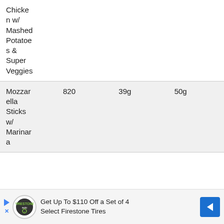|  |  |  |  |
| --- | --- | --- | --- |
| Chicken w/ Mashed Potatoes & Super Veggies |  |  |  |
| Mozzarella Sticks w/ Marinara | 820 | 39g | 50g |
[Figure (other): Advertisement banner: Get Up To $110 Off a Set of 4 Select Firestone Tires, with Firestone auto logo and blue directional arrow icon]